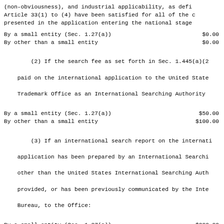(non-obviousness), and industrial applicability, as defi Article 33(1) to (4) have been satisfied for all of the c presented in the application entering the national stage
By a small entity (Sec. 1.27(a))    $0.00
By other than a small entity         $0.00
(2) If the search fee as set forth in Sec. 1.445(a)(2 paid on the international application to the United State Trademark Office as an International Searching Authority
By a small entity (Sec. 1.27(a))    $50.00
By other than a small entity         $100.00
(3) If an international search report on the internati application has been prepared by an International Searchi other than the United States International Searching Auth provided, or has been previously communicated by the Inte Bureau, to the Office:
By a small entity (Sec. 1.27(a))    $200.00
By other than a small entity         $400.00
(4) In all situations not provided for in paragraphs ( or (b)(3) of this section:
By a small entity (Sec. 1.27(a))    $250.00
By other than a small entity         $500.00
(c) The examination fee for an international applicati